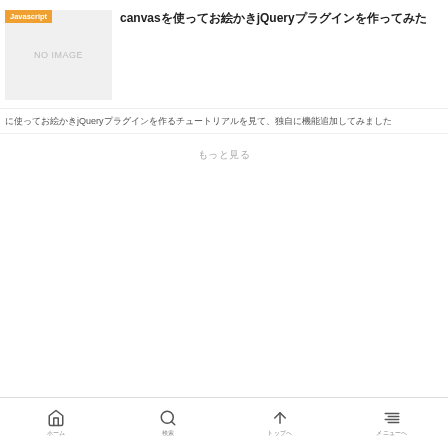[Figure (screenshot): Thumbnail placeholder with orange 'Javascript' tag and 'NO IMAGE' text on grey background]
canvasを使ってお絵かきjQueryプラグインを作ってみた
を使ってお絵かきjQueryプラグインを作るチュートリアルを見て、独自に機能追加してみました
もっと見る
ホーム　　検索　　トップへ　　メニューへ